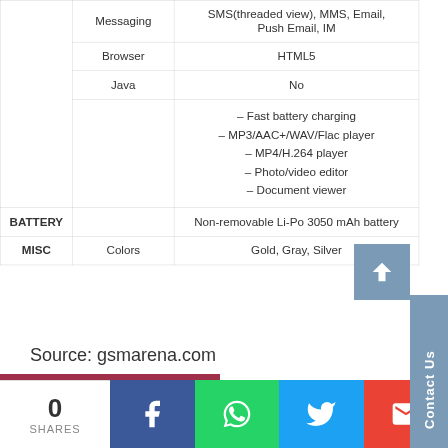| Category | Sub-category | Value |
| --- | --- | --- |
|  | Messaging | SMS(threaded view), MMS, Email, Push Email, IM |
|  | Browser | HTML5 |
|  | Java | No |
|  |  | – Fast battery charging
– MP3/AAC+/WAV/Flac player
– MP4/H.264 player
– Photo/video editor
– Document viewer |
| BATTERY |  | Non-removable Li-Po 3050 mAh battery |
| MISC | Colors | Gold, Gray, Silver |
Source: gsmarena.com